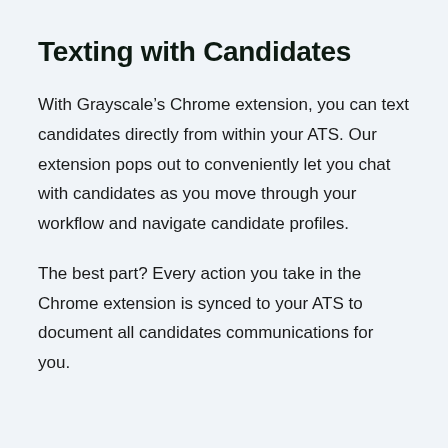Texting with Candidates
With Grayscale’s Chrome extension, you can text candidates directly from within your ATS. Our extension pops out to conveniently let you chat with candidates as you move through your workflow and navigate candidate profiles.
The best part? Every action you take in the Chrome extension is synced to your ATS to document all candidates communications for you.